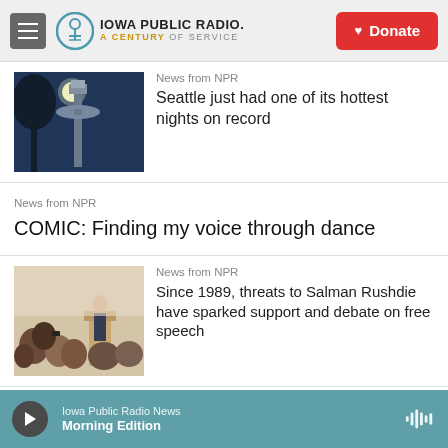Iowa Public Radio — A Century of Service | Donate
[Figure (photo): Photo of Seattle Space Needle shot from below against blue sky with bright sun and tree silhouettes]
News from NPR
Seattle just had one of its hottest nights on record
News from NPR
COMIC: Finding my voice through dance
[Figure (photo): Photo of a crowded room with a person speaking at a podium]
News from NPR
Since 1989, threats to Salman Rushdie have sparked support and debate on free speech
Iowa Public Radio News — Morning Edition